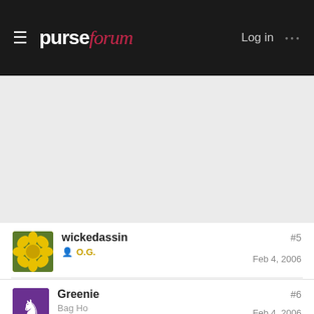purseforum — Log in
[Figure (other): Advertisement/gray placeholder area]
wickedassin #5 Feb 4, 2006 O.G.
Thanks for the description about the Spring hardware! It sounds nice. I just got a taupe Stam, but I'm not so sure about he brassy hardware. I might take the plunge and get the cola Stam instead with the warm gold hardware!
Greenie #6 Feb 4, 2006